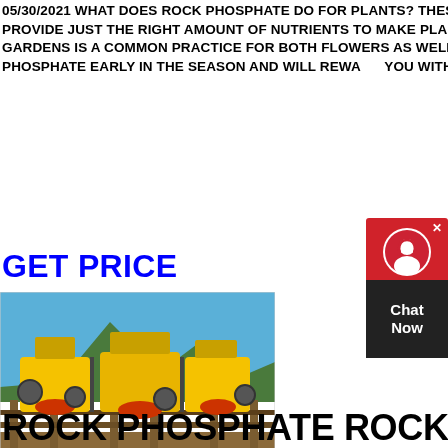05/30/2021 WHAT DOES ROCK PHOSPHATE DO FOR PLANTS? THESE FERTILIZERS ARE COMMONLY CALLED "ROCK DUST" AND PROVIDE JUST THE RIGHT AMOUNT OF NUTRIENTS TO MAKE PLANTS STRONG AND HEALTHY. THE USE OF ROCK PHOSPHATE FOR GARDENS IS A COMMON PRACTICE FOR BOTH FLOWERS AS WELL AS VEGETABLES. FLOWERS LOVE AN APPLICATION OF ROCK PHOSPHATE EARLY IN THE SEASON AND WILL REWARD YOU WITH
GET PRICE
[Figure (photo): Industrial rock phosphate crushing/processing machinery — large yellow heavy-duty crushers on a steel platform with mountains and blue sky in background. Timestamp: 4 11:03AM]
[Figure (infographic): Chat Now widget — red section with X close button and headset icon, dark section with Chat Now text]
ROCK PHOSPHATE ROCK